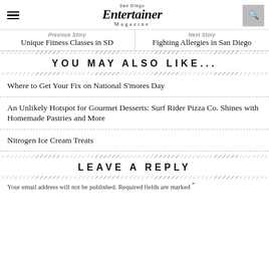San Diego Entertainer Magazine
Previous Story
Unique Fitness Classes in SD
Next Story
Fighting Allergies in San Diego
YOU MAY ALSO LIKE...
Where to Get Your Fix on National S'mores Day
An Unlikely Hotspot for Gourmet Desserts: Surf Rider Pizza Co. Shines with Homemade Pastries and More
Nitrogen Ice Cream Treats
LEAVE A REPLY
Your email address will not be published. Required fields are marked *